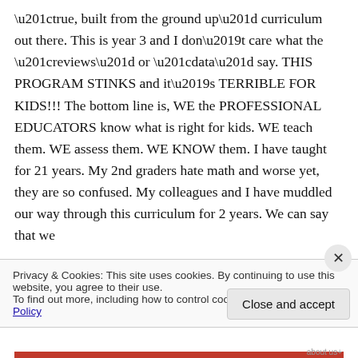“true, built from the ground up” curriculum out there. This is year 3 and I don’t care what the “reviews” or “data” say. THIS PROGRAM STINKS and it’s TERRIBLE FOR KIDS!!! The bottom line is, WE the PROFESSIONAL EDUCATORS know what is right for kids. WE teach them. WE assess them. WE KNOW them. I have taught for 21 years. My 2nd graders hate math and worse yet, they are so confused. My colleagues and I have muddled our way through this curriculum for 2 years. We can say that we
Privacy & Cookies: This site uses cookies. By continuing to use this website, you agree to their use.
To find out more, including how to control cookies, see here: Cookie Policy
Close and accept